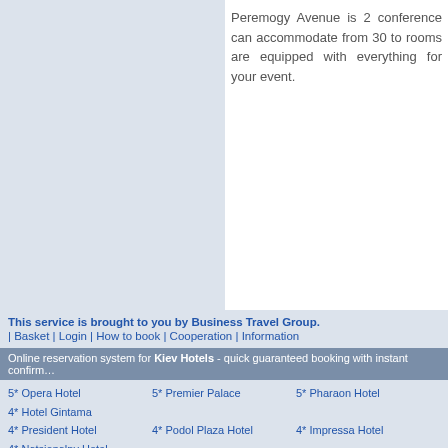Peremogy Avenue is 2 conference rooms can accommodate from 30 to … rooms are equipped with everything for your event.
This service is brought to you by Business Travel Group.
| Basket | Login | How to book | Cooperation | Information
Online reservation system for Kiev Hotels - quick guaranteed booking with instant confirmation
5* Opera Hotel
5* Premier Palace
5* Pharaon Hotel
4* Hotel Gintama
4* President Hotel
4* Podol Plaza Hotel
4* Impressa Hotel
4* Natsionalny Hotel
4* Perlina Dnipra
4* Dniprovskiy Hotel
4* Senator's Park
4* Dnipro Hotel
3* Mir Hotel
3* Sport Hotel
3* Bratislava Hotel
3* Adria Hotel
3* Salute Hotel
3* Domus Hotel
3* Slavutich Hotel
3* Khreschatik Hotel
Ukraine Hotels
Sponsored Links
Готелі Києва    Гостиницы Киева    Hotels in Kiev